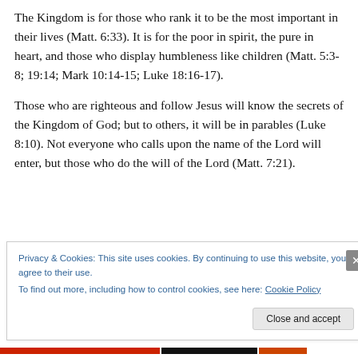The Kingdom is for those who rank it to be the most important in their lives (Matt. 6:33). It is for the poor in spirit, the pure in heart, and those who display humbleness like children (Matt. 5:3-8; 19:14; Mark 10:14-15; Luke 18:16-17).
Those who are righteous and follow Jesus will know the secrets of the Kingdom of God; but to others, it will be in parables (Luke 8:10). Not everyone who calls upon the name of the Lord will enter, but those who do the will of the Lord (Matt. 7:21).
Privacy & Cookies: This site uses cookies. By continuing to use this website, you agree to their use.
To find out more, including how to control cookies, see here: Cookie Policy